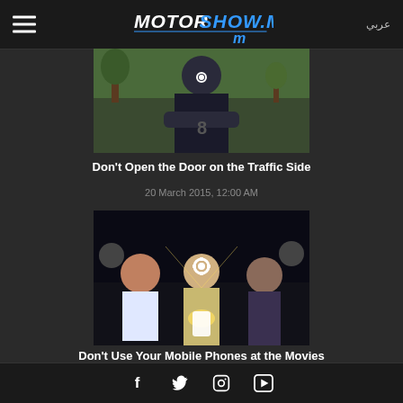MOTORSHOW.ME | عربي
[Figure (photo): Person standing outdoors with arms crossed, wearing a dark polo shirt, trees and grass in background]
Don't Open the Door on the Traffic Side
20 March 2015, 12:00 AM
[Figure (photo): People sitting in a dark movie theater, center person illuminated by phone screen with gear overlay icon]
Don't Use Your Mobile Phones at the Movies
13 August 2018, 12:00 AM
Facebook Twitter Instagram YouTube